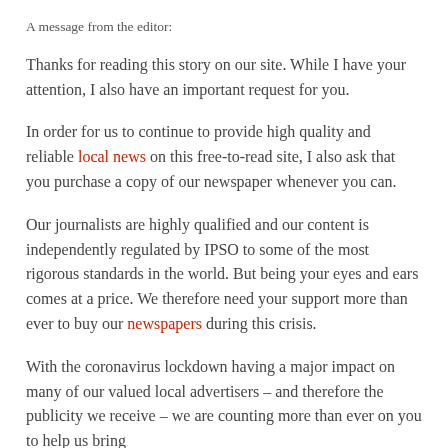A message from the editor:
Thanks for reading this story on our site. While I have your attention, I also have an important request for you.
In order for us to continue to provide high quality and reliable local news on this free-to-read site, I also ask that you purchase a copy of our newspaper whenever you can.
Our journalists are highly qualified and our content is independently regulated by IPSO to some of the most rigorous standards in the world. But being your eyes and ears comes at a price. We therefore need your support more than ever to buy our newspapers during this crisis.
With the coronavirus lockdown having a major impact on many of our valued local advertisers – and therefore the publicity we receive – we are counting more than ever on you to help us bring